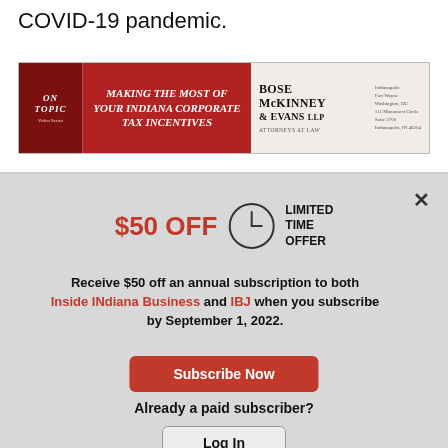COVID-19 pandemic.
[Figure (other): Advertisement banner: On Topic Video Series - Making The Most of Your Indiana Corporate Tax Incentives - Bose McKinney & Evans LLP, Attorneys at Law]
$50 OFF LIMITED TIME OFFER
Receive $50 off an annual subscription to both Inside INdiana Business and IBJ when you subscribe by September 1, 2022.
Subscribe Now
Already a paid subscriber?
Log In